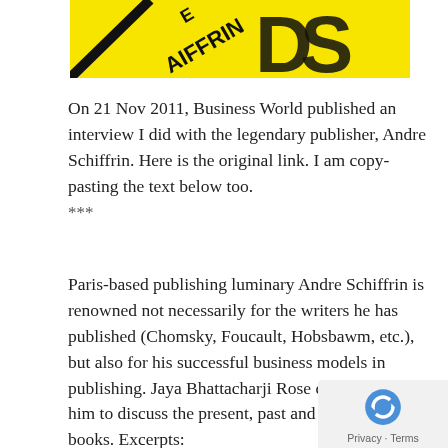[Figure (photo): Partial view of a yellow book cover with black text and diagonal design elements, showing partial text 'AIFFRIN' and 'DS']
On 21 Nov 2011, Business World published an interview I did with the legendary publisher, Andre Schiffrin. Here is the original link. I am copy-pasting the text below too.
***
Paris-based publishing luminary Andre Schiffrin is renowned not necessarily for the writers he has published (Chomsky, Foucault, Hobsbawm, etc.), but also for his successful business models in publishing. Jaya Bhattacharji Rose caught up with him to discuss the present, past and future of books. Excerpts: